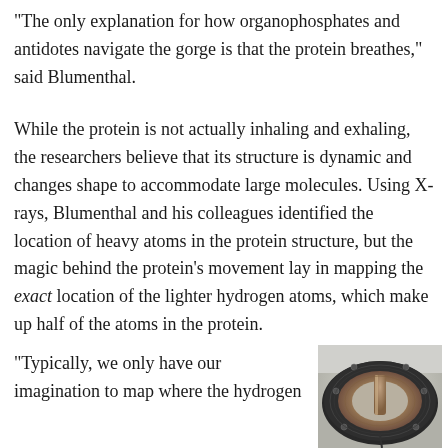“The only explanation for how organophosphates and antidotes navigate the gorge is that the protein breathes,” said Blumenthal.
While the protein is not actually inhaling and exhaling, the researchers believe that its structure is dynamic and changes shape to accommodate large molecules. Using X-rays, Blumenthal and his colleagues identified the location of heavy atoms in the protein structure, but the magic behind the protein’s movement lay in mapping the exact location of the lighter hydrogen atoms, which make up half of the atoms in the protein.
“Typically, we only have our imagination to map where the hydrogen
[Figure (photo): Close-up photograph of a circular scientific instrument or sample holder, appearing to be made of dark metal with a central cylindrical component, viewed from above.]